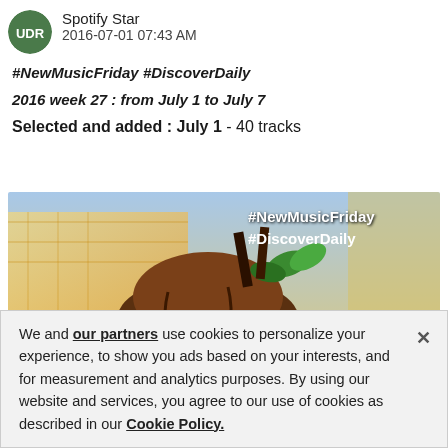Spotify Star
2016-07-01 07:43 AM
#NewMusicFriday #DiscoverDaily
2016 week 27 : from July 1 to July 7
Selected and added : July 1 - 40 tracks
[Figure (photo): Ice cream dessert with chocolate, waffle cones, and mint garnish. Text overlay reads #NewMusicFriday #DiscoverDaily in white font.]
We and our partners use cookies to personalize your experience, to show you ads based on your interests, and for measurement and analytics purposes. By using our website and services, you agree to our use of cookies as described in our Cookie Policy.